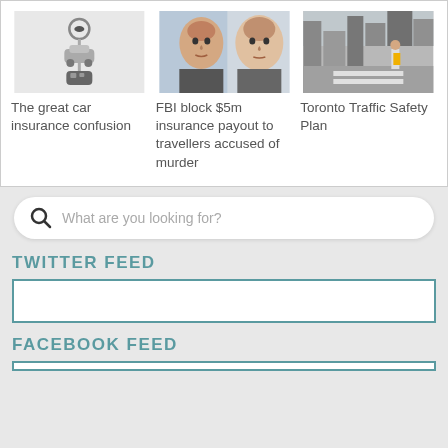[Figure (photo): Car keys with a toy car keychain on white background]
[Figure (photo): Two mugshot-style photos of men side by side]
[Figure (photo): Street scene in Toronto with a pedestrian crossing]
The great car insurance confusion
FBI block $5m insurance payout to travellers accused of murder
Toronto Traffic Safety Plan
What are you looking for?
TWITTER FEED
FACEBOOK FEED